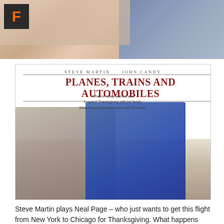[Figure (photo): Top portion of a webpage showing a cropped photo (skin tones and fabric, partially visible). A dark square with an orange 'F' Fandango logo overlaid in the top-left corner.]
[Figure (photo): Movie poster for 'Planes, Trains and Automobiles' starring Steve Martin and John Candy. White background with red serif title text, tagline text, and two actors posing together.]
Steve Martin plays Neal Page – who just wants to get this flight from New York to Chicago for Thanksgiving. What happens first? He gets sat next to Del Griffith…first of all, look at the book Del's reading!